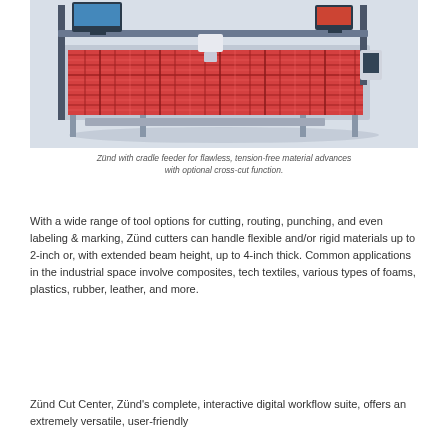[Figure (photo): Zünd cutting machine with cradle feeder. A large CNC flatbed cutter with fabric/material laid on the cutting surface showing a red plaid pattern. The machine has a gantry beam with cutting head, monitors mounted above, and industrial frame structure in a light grey studio environment.]
Zünd with cradle feeder for flawless, tension-free material advances with optional cross-cut function.
With a wide range of tool options for cutting, routing, punching, and even labeling & marking, Zünd cutters can handle flexible and/or rigid materials up to 2-inch or, with extended beam height, up to 4-inch thick. Common applications in the industrial space involve composites, tech textiles, various types of foams, plastics, rubber, leather, and more.
Zünd Cut Center, Zünd's complete, interactive digital workflow suite, offers an extremely versatile, user-friendly